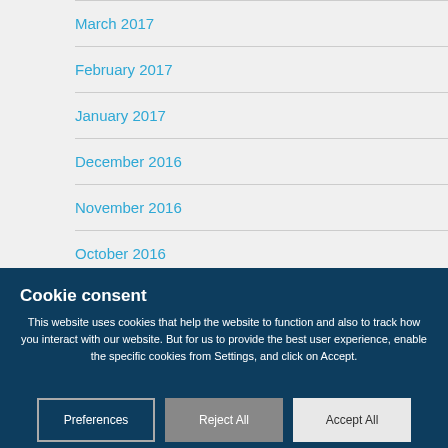March 2017
February 2017
January 2017
December 2016
November 2016
October 2016
Cookie consent
This website uses cookies that help the website to function and also to track how you interact with our website. But for us to provide the best user experience, enable the specific cookies from Settings, and click on Accept.
Preferences
Reject All
Accept All